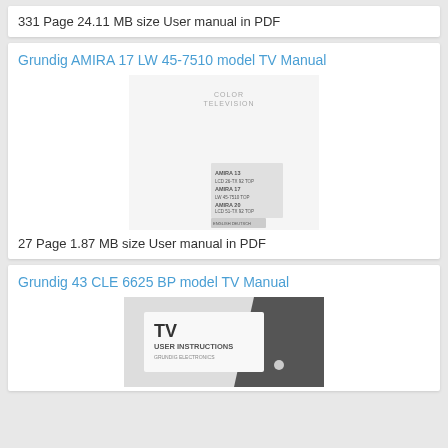331 Page 24.11 MB size User manual in PDF
Grundig AMIRA 17 LW 45-7510 model TV Manual
[Figure (photo): Cover of Grundig AMIRA TV user manual showing COLOR TELEVISION text and GRUNDIG logo vertically, with model listing for AMIRA 13, AMIRA 17 LW 45-7510 TDP, AMIRA 20]
27 Page 1.87 MB size User manual in PDF
Grundig 43 CLE 6625 BP model TV Manual
[Figure (photo): Cover of Grundig 43 CLE TV user manual showing TV USER INSTRUCTIONS on a white/dark cover]